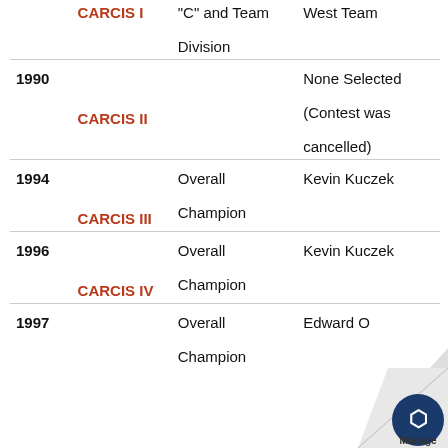| Year | Event | Category | Winner |
| --- | --- | --- | --- |
|  | CARCIS I | "C" and Team Division | West Team |
| 1990 | CARCIS II |  | None Selected (Contest was cancelled) |
| 1994 | CARCIS III | Overall Champion | Kevin Kuczek |
| 1996 | CARCIS IV | Overall Champion | Kevin Kuczek |
| 1997 |  | Overall Champion | Edward O... |